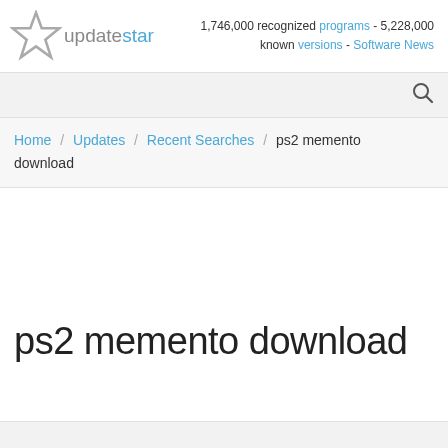[Figure (logo): UpdateStar logo with star icon and text 'updatestar']
1,746,000 recognized programs - 5,228,000 known versions - Software News
Search bar with magnifier icon
Home / Updates / Recent Searches / ps2 memento download
ps2 memento download